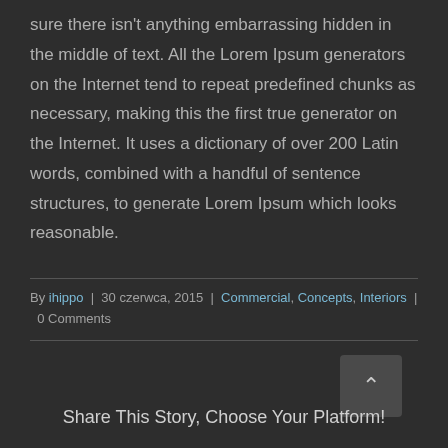sure there isn't anything embarrassing hidden in the middle of text. All the Lorem Ipsum generators on the Internet tend to repeat predefined chunks as necessary, making this the first true generator on the Internet. It uses a dictionary of over 200 Latin words, combined with a handful of sentence structures, to generate Lorem Ipsum which looks reasonable.
By ihippo | 30 czerwca, 2015 | Commercial, Concepts, Interiors | 0 Comments
Share This Story, Choose Your Platform!